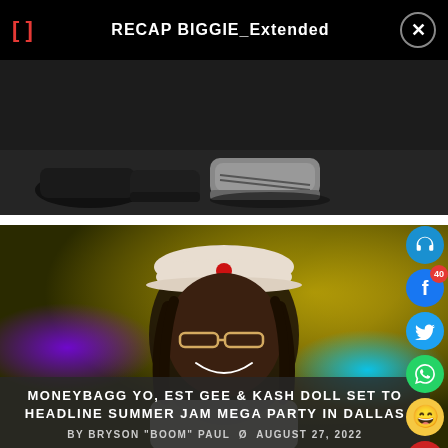[] RECAP BIGGIE_Extended
[Figure (screenshot): Dark video frame showing feet and shoes on a dim floor, part of a video player UI]
[Figure (photo): Person wearing a white cap and glasses, smiling, at a party with yellow-green ambient lighting]
MONEYBAGG YO, EST GEE & KASH DOLL SET TO HEADLINE SUMMER JAM MEGA PARTY IN DALLAS
BY BRYSON "BOOM" PAUL  Ø AUGUST 27, 2022